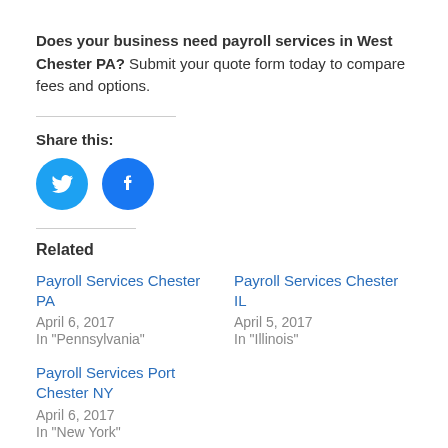Does your business need payroll services in West Chester PA? Submit your quote form today to compare fees and options.
Share this:
[Figure (illustration): Two circular social media share buttons: Twitter (blue bird icon) and Facebook (blue F icon)]
Related
Payroll Services Chester PA
April 6, 2017
In "Pennsylvania"
Payroll Services Chester IL
April 5, 2017
In "Illinois"
Payroll Services Port Chester NY
April 6, 2017
In "New York"